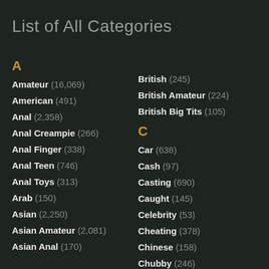List of All Categories
A
Amateur (16,069)
American (491)
Anal (2,358)
Anal Creampie (266)
Anal Finger (338)
Anal Teen (746)
Anal Toys (313)
Arab (150)
Asian (2,250)
Asian Amateur (2,081)
Asian Anal (170)
British (245)
British Amateur (224)
British Big Tits (105)
C
Car (638)
Cash (97)
Casting (690)
Caught (145)
Celebrity (53)
Cheating (378)
Chinese (158)
Chubby (246)